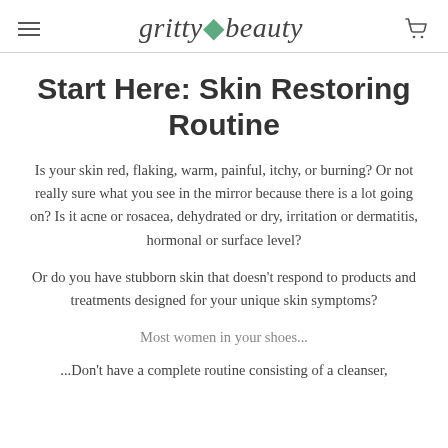gritty beauty
Start Here: Skin Restoring Routine
Is your skin red, flaking, warm, painful, itchy, or burning? Or not really sure what you see in the mirror because there is a lot going on? Is it acne or rosacea, dehydrated or dry, irritation or dermatitis, hormonal or surface level?
Or do you have stubborn skin that doesn't respond to products and treatments designed for your unique skin symptoms?
Most women in your shoes...
...Don't have a complete routine consisting of a cleanser,